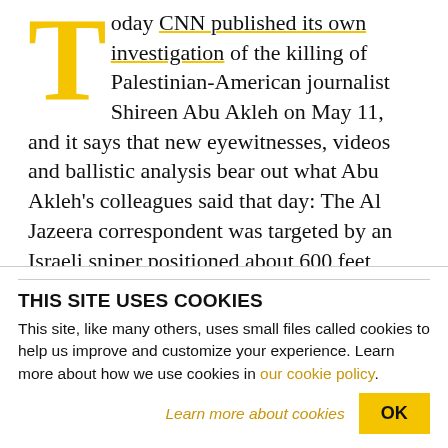Today CNN published its own investigation of the killing of Palestinian-American journalist Shireen Abu Akleh on May 11, and it says that new eyewitnesses, videos and ballistic analysis bear out what Abu Akleh's colleagues said that day: The Al Jazeera correspondent was targeted by an Israeli sniper positioned about 600 feet away from her with a clear line of sight.
CNN's team of six journalists writes:
THIS SITE USES COOKIES
This site, like many others, uses small files called cookies to help us improve and customize your experience. Learn more about how we use cookies in our cookie policy.
Learn more about cookies